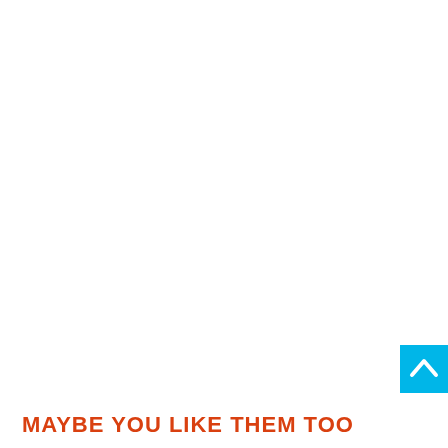MAYBE YOU LIKE THEM TOO
[Figure (other): Back to top button — cyan/blue square with white upward chevron arrow, positioned at right edge near bottom of page]